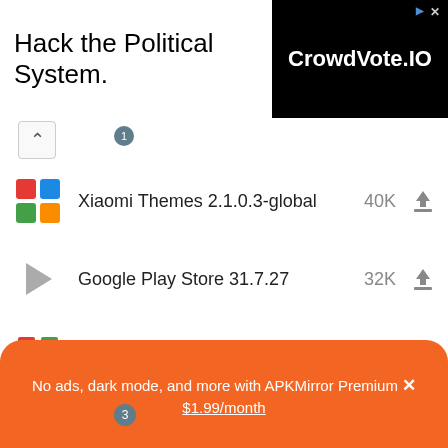[Figure (screenshot): Advertisement banner: 'Hack the Political System.' with CrowdVote.IO logo on black background]
Xiaomi Themes 2.1.0.3-global  40K
Google Play Store 31.7.27  32K
Google Services Framework 13  30K
Google Play services 22.31.12 beta  26K
No ads, dark mode, and more with APKMirror Premium ✕
$1.99/month